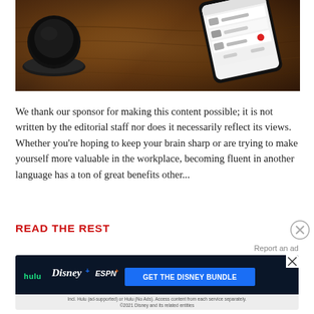[Figure (photo): Photo of a smartphone lying on a wooden table next to a dark coffee cup and saucer, viewed from above. The phone screen shows a UI with list items and a red record button.]
We thank our sponsor for making this content possible; it is not written by the editorial staff nor does it necessarily reflect its views. Whether you're hoping to keep your brain sharp or are trying to make yourself more valuable in the workplace, becoming fluent in another language has a ton of great benefits other...
READ THE REST
Report an ad
[Figure (screenshot): Disney Bundle advertisement banner showing Hulu, Disney+, and ESPN+ logos with a blue 'GET THE DISNEY BUNDLE' call-to-action button and fine print below.]